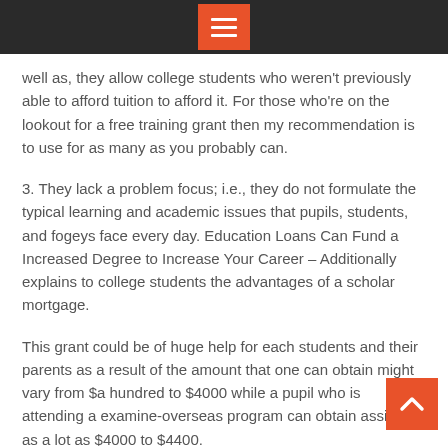well as, they allow college students who weren't previously able to afford tuition to afford it. For those who're on the lookout for a free training grant then my recommendation is to use for as many as you probably can.
3. They lack a problem focus; i.e., they do not formulate the typical learning and academic issues that pupils, students, and fogeys face every day. Education Loans Can Fund a Increased Degree to Increase Your Career – Additionally explains to college students the advantages of a scholar mortgage.
This grant could be of huge help for each students and their parents as a result of the amount that one can obtain might vary from $a hundred to $4000 while a pupil who is attending a examine-overseas program can obtain assist for as a lot as $4000 to $4400.